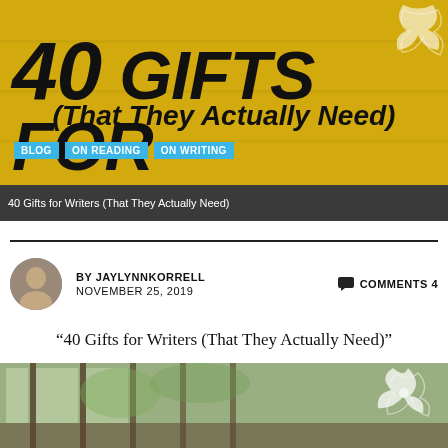[Figure (illustration): Yellow banner header with large bold italic text '40 GIFTS FOR WRITERS' and subtitle '(That They Actually Need)' with category tags BLOG, ON READING, ON WRITING, and decorative flower in top right corner]
40 Gifts for Writers (That They Actually Need)
BY JAYLYNNKORRELL   COMMENTS 4
NOVEMBER 25, 2019
“40 Gifts for Writers (That They Actually Need)”
by Jaylynn Korrell
[Figure (photo): Bottom strip photo showing interior space with windows and greenery, with decorative white flower illustration in bottom right corner]